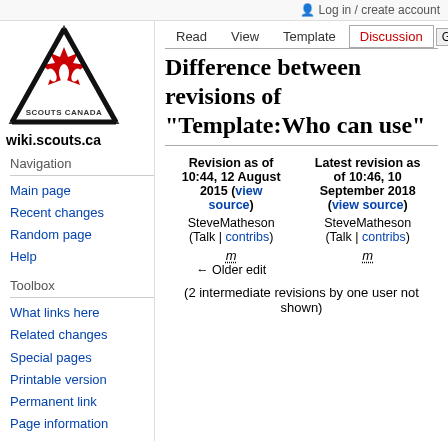Log in / create account
[Figure (logo): Scouts Canada logo: triangle with maple leaf and fleur-de-lis, 'SCOUTS CANADA' text below]
wiki.scouts.ca
Read | View | Template | Discussion
Navigation
Main page
Recent changes
Random page
Help
Toolbox
What links here
Related changes
Special pages
Printable version
Permanent link
Page information
Difference between revisions of "Template:Who can use"
| Revision as of 10:44, 12 August 2015 (view source) | Latest revision as of 10:46, 10 September 2018 (view source) |
| --- | --- |
| SteveMatheson (Talk | contribs) | SteveMatheson (Talk | contribs) |
| m ← Older edit | m |
(2 intermediate revisions by one user not shown)